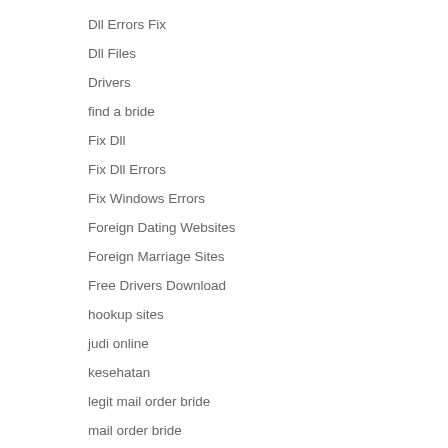Dll Errors Fix
Dll Files
Drivers
find a bride
Fix Dll
Fix Dll Errors
Fix Windows Errors
Foreign Dating Websites
Foreign Marriage Sites
Free Drivers Download
hookup sites
judi online
kesehatan
legit mail order bride
mail order bride